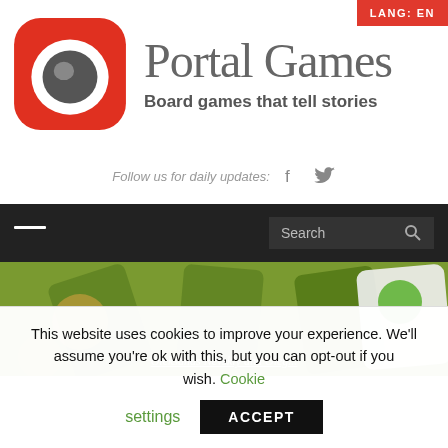[Figure (logo): Portal Games logo: red rounded square icon with white circle and dark grey dot in center, next to text 'Portal Games' and tagline 'Board games that tell stories']
Follow us for daily updates:
LANG: EN
[Figure (screenshot): Navigation bar with hamburger menu icon on left and Search input field with magnifying glass icon on right, on dark background]
[Figure (photo): Green-toned board game illustration/artwork showing cartoon characters and game cards]
Oleksands Nevskiy and Oleg...
This website uses cookies to improve your experience. We'll assume you're ok with this, but you can opt-out if you wish. Cookie settings ACCEPT